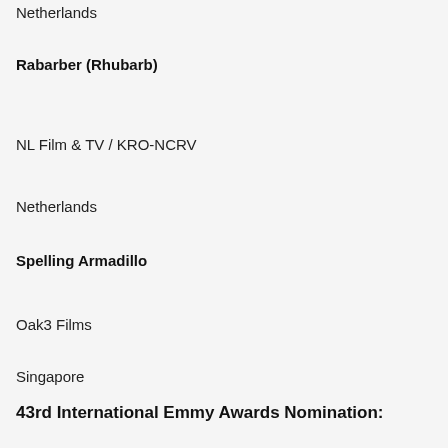Netherlands
Rabarber (Rhubarb)
NL Film & TV / KRO-NCRV
Netherlands
Spelling Armadillo
Oak3 Films
Singapore
43rd International Emmy Awards Nomination: